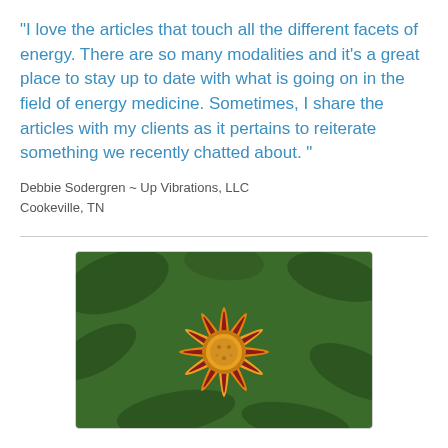"I love the articles that touch all the different facets of energy. There are so many modalities and it's a great place to stay up to date with what is going on in the field of energy medicine. Sometimes, I share the articles with my clients as it pertains to reiterate something we recently chatted about. "
Debbie Sodergren ~ Up Vibrations, LLC
Cookeville, TN
[Figure (photo): Close-up photograph of an orange and red gazania flower with yellow center and green foliage in the background]